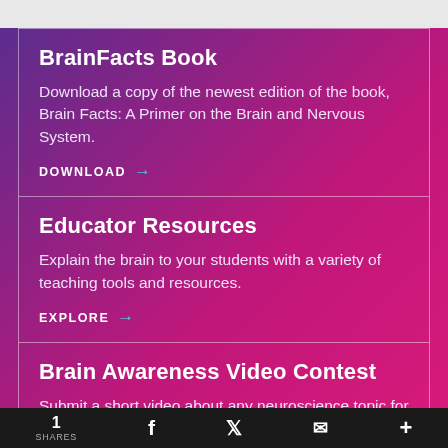BrainFacts Book
Download a copy of the newest edition of the book, Brain Facts: A Primer on the Brain and Nervous System.
DOWNLOAD →
Educator Resources
Explain the brain to your students with a variety of teaching tools and resources.
EXPLORE →
Brain Awareness Video Contest
Submit a short video about any neuroscience topic for a
1 SHARES  f  𝕏  ✉  +